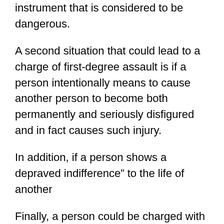instrument that is considered to be dangerous.
A second situation that could lead to a charge of first-degree assault is if a person intentionally means to cause another person to become both permanently and seriously disfigured and in fact causes such injury.
In addition, if a person shows a depraved indifference” to the life of another
Finally, a person could be charged with first-degree assault if he or she is in the process of attempting to commit a felony, is actually committing a felony or is immediately fleeing from a felony crime and causes a person who